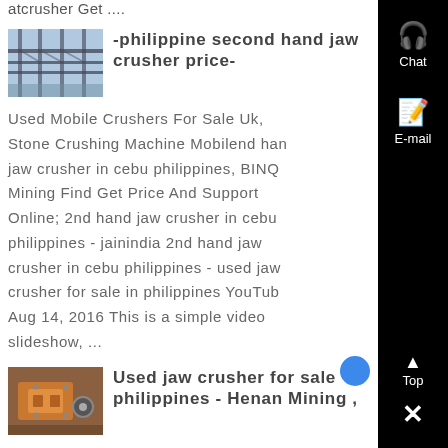atcrusher Get ....
[Figure (photo): Thumbnail image of industrial bridge/factory structure with steel framework]
-philippine second hand jaw crusher price-
Used Mobile Crushers For Sale Uk, Stone Crushing Machine Mobilend hand jaw crusher in cebu philippines, BINQ Mining Find Get Price And Support Online; 2nd hand jaw crusher in cebu philippines - jainindia 2nd hand jaw crusher in cebu philippines - used jaw crusher for sale in philippines YouTube Aug 14, 2016 This is a simple video slideshow, ...
[Figure (photo): Thumbnail image of industrial jaw crusher machinery in yellow/orange color]
Used jaw crusher for sale philippines - Henan Mining ,